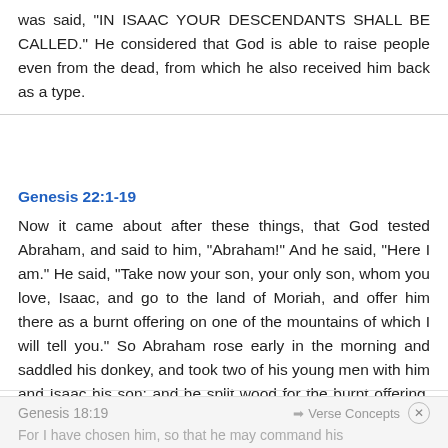was said, "IN ISAAC YOUR DESCENDANTS SHALL BE CALLED." He considered that God is able to raise people even from the dead, from which he also received him back as a type.
Genesis 22:1-19
Now it came about after these things, that God tested Abraham, and said to him, "Abraham!" And he said, "Here I am." He said, "Take now your son, your only son, whom you love, Isaac, and go to the land of Moriah, and offer him there as a burnt offering on one of the mountains of which I will tell you." So Abraham rose early in the morning and saddled his donkey, and took two of his young men with him and Isaac his son; and he split wood for the burnt offering, and arose and went to the place of which God had told him. read more.
Parents » Good--exemplified » Abraham
Genesis 18:19   → Verse Concepts   For I have chosen him, so that he may command his